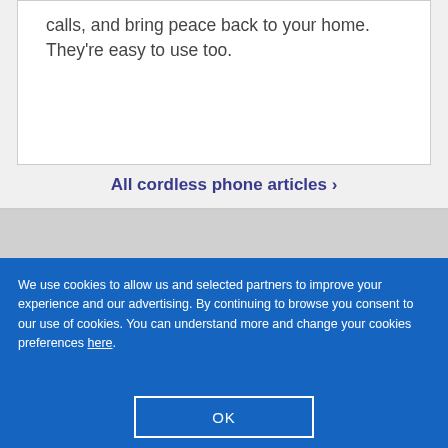calls, and bring peace back to your home. They're easy to use too.
All cordless phone articles >
We use cookies to allow us and selected partners to improve your experience and our advertising. By continuing to browse you consent to our use of cookies. You can understand more and change your cookies preferences here.
OK